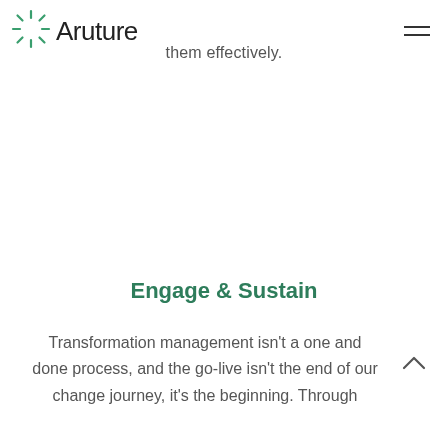Aruture
them effectively.
Engage & Sustain
Transformation management isn't a one and done process, and the go-live isn't the end of our change journey, it's the beginning. Through